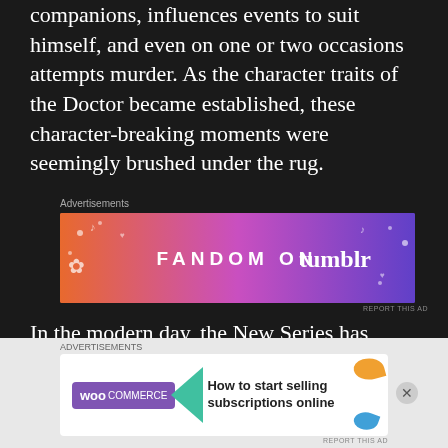companions, influences events to suit himself, and even on one or two occasions attempts murder. As the character traits of the Doctor became established, these character-breaking moments were seemingly brushed under the rug.
[Figure (other): Advertisement banner for 'FANDOM ON tumblr' with colorful orange-to-purple gradient background with music and heart decorations]
In the modern day, the New Series has reinforced the idea of the Doctor as principled and ethically conscious, but many fans have
[Figure (other): Advertisement banner for WooCommerce: 'How to start selling subscriptions online' with purple WooCommerce logo and teal arrow shape]